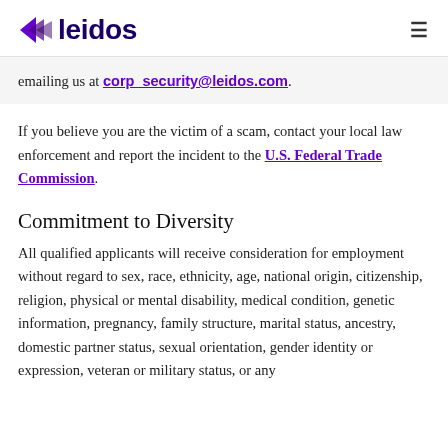leidos
emailing us at corp_security@leidos.com.
If you believe you are the victim of a scam, contact your local law enforcement and report the incident to the U.S. Federal Trade Commission.
Commitment to Diversity
All qualified applicants will receive consideration for employment without regard to sex, race, ethnicity, age, national origin, citizenship, religion, physical or mental disability, medical condition, genetic information, pregnancy, family structure, marital status, ancestry, domestic partner status, sexual orientation, gender identity or expression, veteran or military status, or any